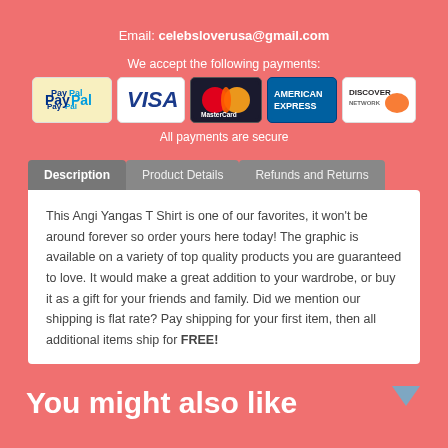Email: celebsloverusa@gmail.com
We accept the following payments:
[Figure (illustration): Payment method logos: PayPal, Visa, MasterCard, American Express, Discover]
All payments are secure
Description | Product Details | Refunds and Returns (tabs)
This Angi Yangas T Shirt is one of our favorites, it won’t be around forever so order yours here today! The graphic is available on a variety of top quality products you are guaranteed to love. It would make a great addition to your wardrobe, or buy it as a gift for your friends and family. Did we mention our shipping is flat rate? Pay shipping for your first item, then all additional items ship for FREE!
You might also like